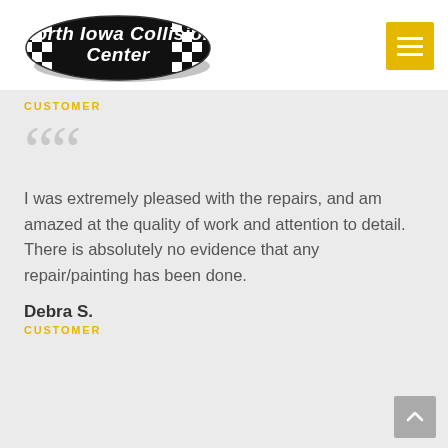[Figure (logo): North Iowa Collision Center logo — black oval with checkered flag pattern and bold white italic text]
CUSTOMER
””
I was extremely pleased with the repairs, and am amazed at the quality of work and attention to detail. There is absolutely no evidence that any repair/painting has been done.
Debra S.
CUSTOMER